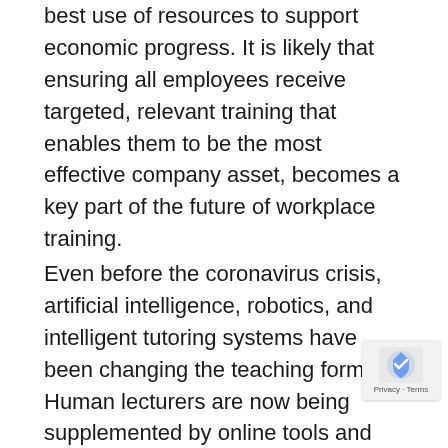best use of resources to support economic progress. It is likely that ensuring all employees receive targeted, relevant training that enables them to be the most effective company asset, becomes a key part of the future of workplace training.
Even before the coronavirus crisis, artificial intelligence, robotics, and intelligent tutoring systems have been changing the teaching format. Human lecturers are now being supplemented by online tools and digital tutors to provide a more holistic training experience. The coronavirus is likely to facilitate a societal shift unlike anything seen